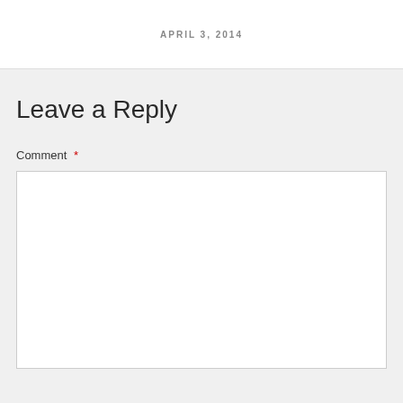APRIL 3, 2014
Leave a Reply
Comment *